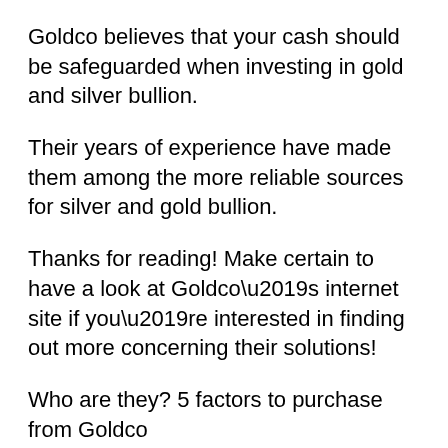Goldco believes that your cash should be safeguarded when investing in gold and silver bullion.
Their years of experience have made them among the more reliable sources for silver and gold bullion.
Thanks for reading! Make certain to have a look at Goldco’s internet site if you’re interested in finding out more concerning their solutions!
Who are they? 5 factors to purchase from Goldco
Goldco is a leading rare-earth element provider that has actually remained in the